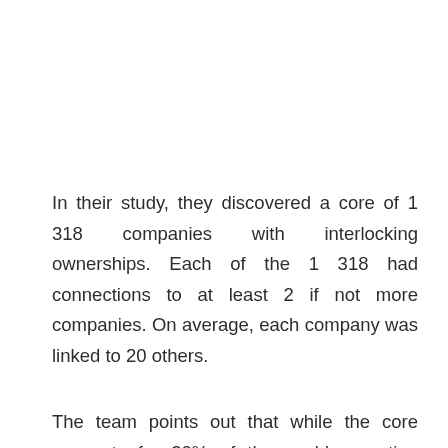In their study, they discovered a core of 1 318 companies with interlocking ownerships. Each of the 1 318 had connections to at least 2 if not more companies. On average, each company was linked to 20 others.
The team points out that while the core accounts for 20% of the world operating revenues, the 1 318 seemingly hold through their shares, the majority